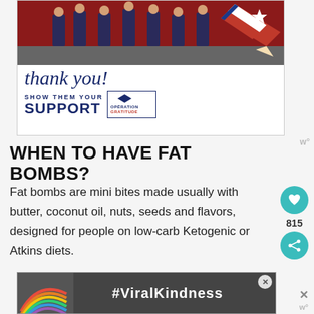[Figure (photo): Advertisement banner showing firefighters/military personnel posing in front of a fire truck, with 'thank you!' written in cursive script, a patriotic pencil graphic, and text 'SHOW THEM YOUR SUPPORT' with the Operation Gratitude logo]
WHEN TO HAVE FAT BOMBS?
Fat bombs are mini bites made usually with butter, coconut oil, nuts, seeds and flavors, designed for people on low-carb Ketogenic or Atkins diets.
[Figure (photo): Bottom advertisement banner with rainbow graphic and '#ViralKindness' text on dark background]